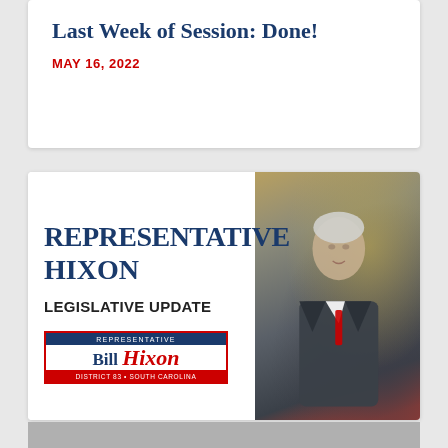Last Week of Session: Done!
MAY 16, 2022
[Figure (infographic): Representative Bill Hixon legislative update banner with logo and photo of Bill Hixon]
REPRESENTATIVE HIXON LEGISLATIVE UPDATE
[Figure (logo): Representative Bill Hixon District 83 South Carolina logo with red border, blue top bar, red bottom bar]